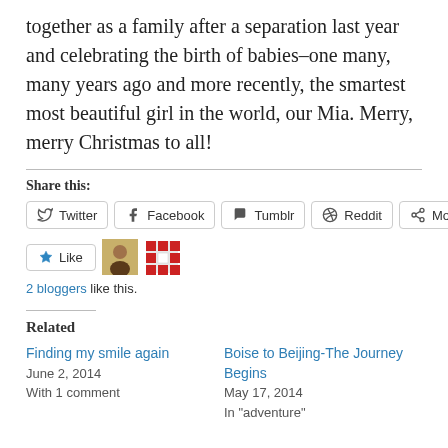together as a family after a separation last year and celebrating the birth of babies–one many, many years ago and more recently, the smartest most beautiful girl in the world, our Mia.  Merry, merry Christmas to all!
Share this:
Twitter | Facebook | Tumblr | Reddit | More
Like | 2 bloggers like this.
Related
Finding my smile again
June 2, 2014
With 1 comment
Boise to Beijing-The Journey Begins
May 17, 2014
In "adventure"